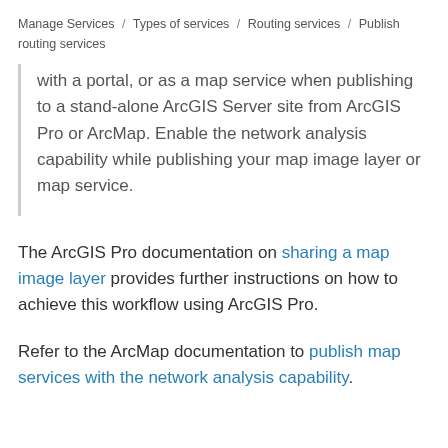Manage Services / Types of services / Routing services / Publish routing services
with a portal, or as a map service when publishing to a stand-alone ArcGIS Server site from ArcGIS Pro or ArcMap. Enable the network analysis capability while publishing your map image layer or map service.
The ArcGIS Pro documentation on sharing a map image layer provides further instructions on how to achieve this workflow using ArcGIS Pro.
Refer to the ArcMap documentation to publish map services with the network analysis capability.